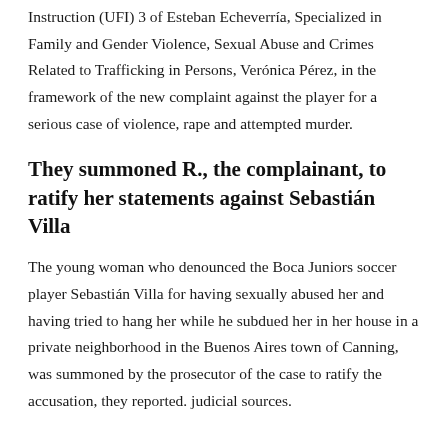Instruction (UFI) 3 of Esteban Echeverría, Specialized in Family and Gender Violence, Sexual Abuse and Crimes Related to Trafficking in Persons, Verónica Pérez, in the framework of the new complaint against the player for a serious case of violence, rape and attempted murder.
They summoned R., the complainant, to ratify her statements against Sebastián Villa
The young woman who denounced the Boca Juniors soccer player Sebastián Villa for having sexually abused her and having tried to hang her while he subdued her in her house in a private neighborhood in the Buenos Aires town of Canning, was summoned by the prosecutor of the case to ratify the accusation, they reported. judicial sources.